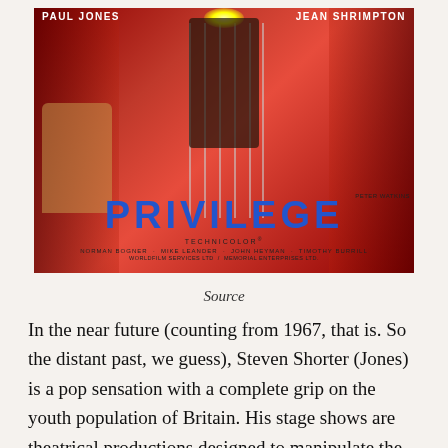[Figure (photo): Movie poster for 'Privilege' (1967) starring Paul Jones and Jean Shrimpton. Red background with dramatic figures including a woman in white on the lower left, a central figure under a spotlight behind cage bars. Bold blue 'PRIVILEGE' title in center-bottom. Credits include Norman Bogner, Mike Leander, John Heyman, Timothy Burrill. Directed by Peter Watkins. Produced by Worldfilm Services Ltd / Memorial Enterprises Ltd. In Technicolor.]
Source
In the near future (counting from 1967, that is. So the distant past, we guess), Steven Shorter (Jones) is a pop sensation with a complete grip on the youth population of Britain. His stage shows are theatrical productions designed to manipulate the audience –